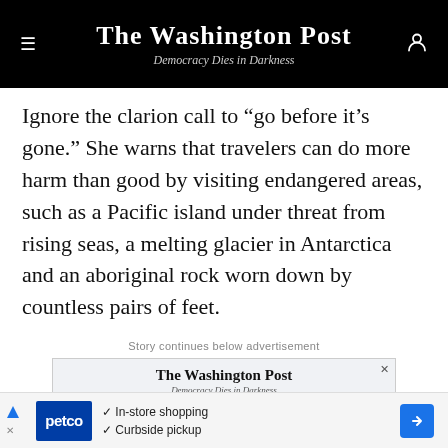The Washington Post — Democracy Dies in Darkness
Ignore the clarion call to “go before it’s gone.” She warns that travelers can do more harm than good by visiting endangered areas, such as a Pacific island under threat from rising seas, a melting glacier in Antarctica and an aboriginal rock worn down by countless pairs of feet.
Story continues below advertisement
[Figure (screenshot): Washington Post subscription advertisement showing 'Get the gist or dive deep' promotional text with The Washington Post logo and Democracy Dies in Darkness tagline]
[Figure (screenshot): Petco advertisement showing Petco logo with checkmark bullets for 'In-store shopping' and 'Curbside pickup' and a blue direction arrow icon]